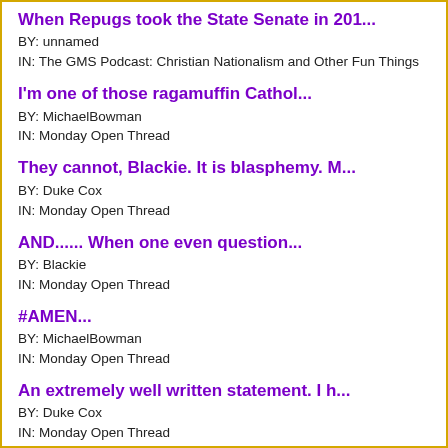When Repugs took the State Senate in 201...
BY: unnamed
IN: The GMS Podcast: Christian Nationalism and Other Fun Things
I'm one of those ragamuffin Cathol...
BY: MichaelBowman
IN: Monday Open Thread
They cannot, Blackie. It is blasphemy. M...
BY: Duke Cox
IN: Monday Open Thread
AND...... When one even question...
BY: Blackie
IN: Monday Open Thread
#AMEN...
BY: MichaelBowman
IN: Monday Open Thread
An extremely well written statement. I h...
BY: Duke Cox
IN: Monday Open Thread
It has been quite a show. Sen. Blunt and...
BY: Duke Cox